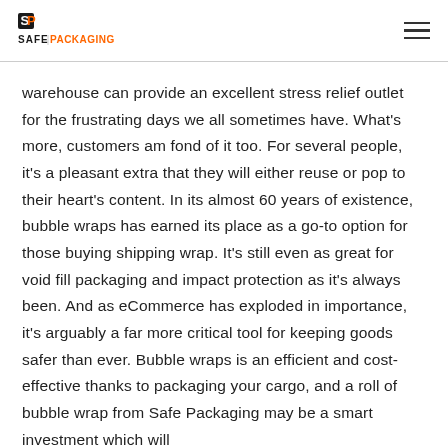Safe Packaging
warehouse can provide an excellent stress relief outlet for the frustrating days we all sometimes have. What's more, customers am fond of it too. For several people, it's a pleasant extra that they will either reuse or pop to their heart's content. In its almost 60 years of existence, bubble wraps has earned its place as a go-to option for those buying shipping wrap. It's still even as great for void fill packaging and impact protection as it's always been. And as eCommerce has exploded in importance, it's arguably a far more critical tool for keeping goods safer than ever. Bubble wraps is an efficient and cost-effective thanks to packaging your cargo, and a roll of bubble wrap from Safe Packaging may be a smart investment which will